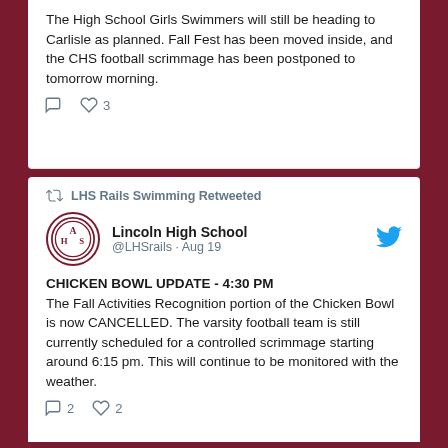The High School Girls Swimmers will still be heading to Carlisle as planned. Fall Fest has been moved inside, and the CHS football scrimmage has been postponed to tomorrow morning.
LHS Rails Swimming Retweeted
Lincoln High School @LHSrails · Aug 19
CHICKEN BOWL UPDATE - 4:30 PM
The Fall Activities Recognition portion of the Chicken Bowl is now CANCELLED. The varsity football team is still currently scheduled for a controlled scrimmage starting around 6:15 pm. This will continue to be monitored with the weather.